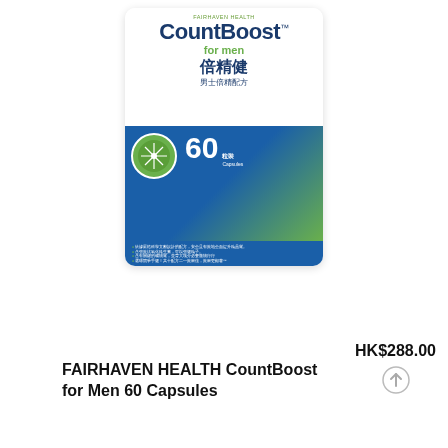[Figure (photo): Product image of FAIRHAVEN HEALTH CountBoost for Men 60 Capsules supplement box with blue and green packaging, Chinese and English text, showing the brand name CountBoost, Chinese characters 倍精健 and 男士倍精配方, and 60 Capsules label.]
FAIRHAVEN HEALTH CountBoost for Men 60 Capsules
HK$288.00